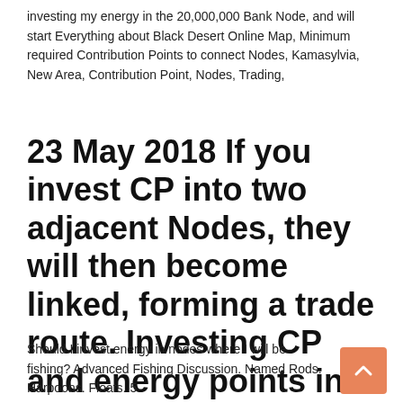investing my energy in the 20,000,000 Bank Node, and will start Everything about Black Desert Online Map, Minimum required Contribution Points to connect Nodes, Kamasylvia, New Area, Contribution Point, Nodes, Trading,
23 May 2018 If you invest CP into two adjacent Nodes, they will then become linked, forming a trade route. Investing CP and energy points into Nodes can
Should I invest energy in nodes where I will be fishing? Advanced Fishing Discussion. Named Rods. Harpoons. Floats. 5